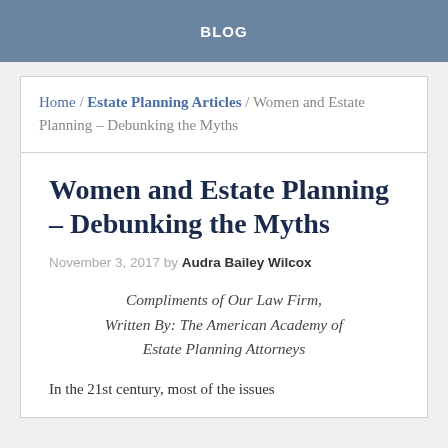BLOG
Home / Estate Planning Articles / Women and Estate Planning – Debunking the Myths
Women and Estate Planning – Debunking the Myths
November 3, 2017 by Audra Bailey Wilcox
Compliments of Our Law Firm, Written By: The American Academy of Estate Planning Attorneys
In the 21st century, most of the issues